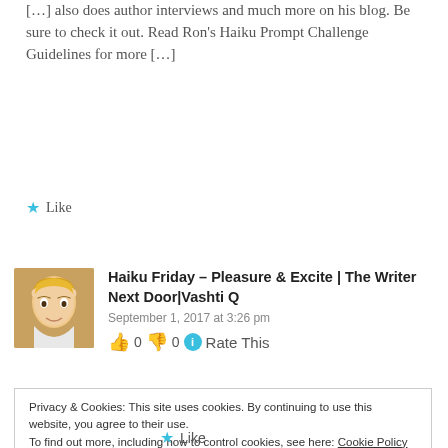[…] also does author interviews and much more on his blog. Be sure to check it out. Read Ron's Haiku Prompt Challenge Guidelines for more […]
★ Like
Haiku Friday – Pleasure & Excite | The Writer Next Door|Vashti Q
September 1, 2017 at 3:26 pm
👍 0 👎 0 ℹ Rate This
Privacy & Cookies: This site uses cookies. By continuing to use this website, you agree to their use.
To find out more, including how to control cookies, see here: Cookie Policy
Close and accept
★ Like